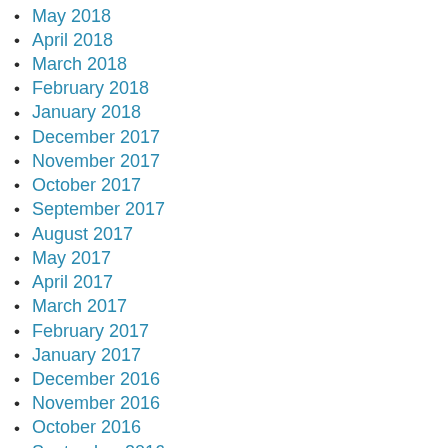May 2018
April 2018
March 2018
February 2018
January 2018
December 2017
November 2017
October 2017
September 2017
August 2017
May 2017
April 2017
March 2017
February 2017
January 2017
December 2016
November 2016
October 2016
September 2016
August 2016
May 2016
April 2016
March 2016